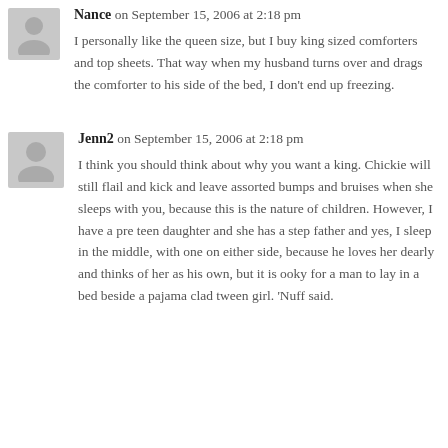Nance on September 15, 2006 at 2:18 pm
I personally like the queen size, but I buy king sized comforters and top sheets. That way when my husband turns over and drags the comforter to his side of the bed, I don't end up freezing.
Jenn2 on September 15, 2006 at 2:18 pm
I think you should think about why you want a king. Chickie will still flail and kick and leave assorted bumps and bruises when she sleeps with you, because this is the nature of children. However, I have a pre teen daughter and she has a step father and yes, I sleep in the middle, with one on either side, because he loves her dearly and thinks of her as his own, but it is ooky for a man to lay in a bed beside a pajama clad tween girl. 'Nuff said.